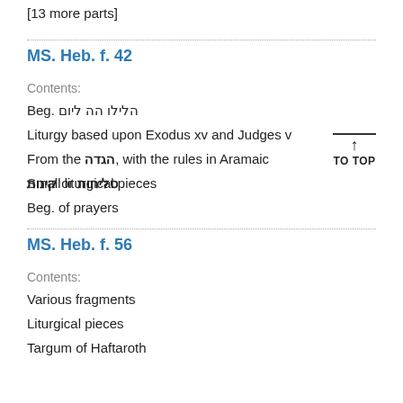[13 more parts]
MS. Heb. f. 42
Contents:
Beg. הלילו הה ליום
Liturgy based upon Exodus xv and Judges v
From the הגדה, with the rules in Aramaic
Small liturgical pieces
קינות or סליחות
Beg. of prayers
MS. Heb. f. 56
Contents:
Various fragments
Liturgical pieces
Targum of Haftaroth